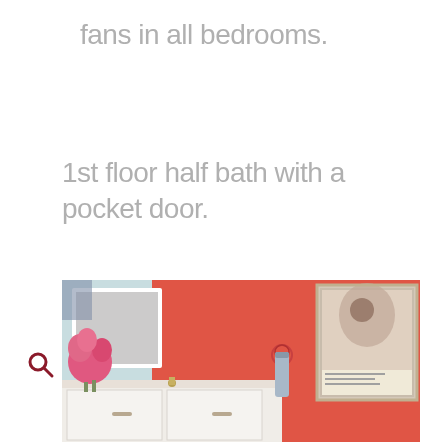fans in all bedrooms.
1st floor half bath with a pocket door.
[Figure (photo): Interior photo of a bathroom with bright coral/red walls, white vanity with granite countertop, a rectangular mirror, a framed poster/artwork, pink flowers, and a hand towel on a towel ring.]